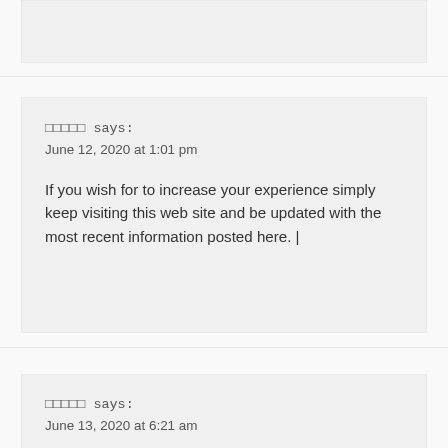[partial comment block at top]
□□□□□ says:
June 12, 2020 at 1:01 pm

If you wish for to increase your experience simply keep visiting this web site and be updated with the most recent information posted here. |
□□□□□ says:
June 13, 2020 at 6:21 am